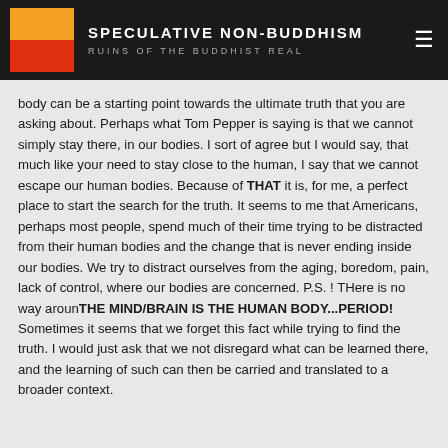SPECULATIVE NON-BUDDHISM RUINS OF THE BUDDHIST REAL
body can be a starting point towards the ultimate truth that you are asking about. Perhaps what Tom Pepper is saying is that we cannot simply stay there, in our bodies. I sort of agree but I would say, that much like your need to stay close to the human, I say that we cannot escape our human bodies. Because of THAT it is, for me, a perfect place to start the search for the truth. It seems to me that Americans, perhaps most people, spend much of their time trying to be distracted from their human bodies and the change that is never ending inside our bodies. We try to distract ourselves from the aging, boredom, pain, lack of control, where our bodies are concerned. P.S. ! THere is no way arounTHE MIND/BRAIN IS THE HUMAN BODY...PERIOD! Sometimes it seems that we forget this fact while trying to find the truth. I would just ask that we not disregard what can be learned there, and the learning of such can then be carried and translated to a broader context.